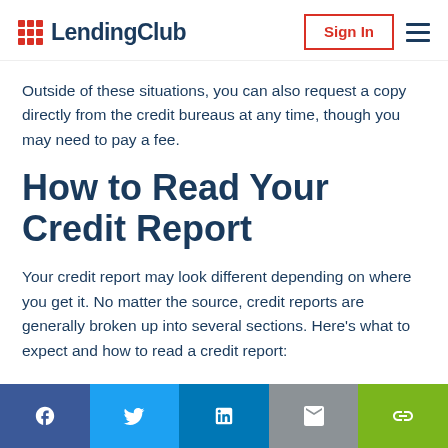LendingClub
Outside of these situations, you can also request a copy directly from the credit bureaus at any time, though you may need to pay a fee.
How to Read Your Credit Report
Your credit report may look different depending on where you get it. No matter the source, credit reports are generally broken up into several sections. Here's what to expect and how to read a credit report:
[Figure (infographic): Social sharing bar with Facebook, Twitter, LinkedIn, email, and link buttons]